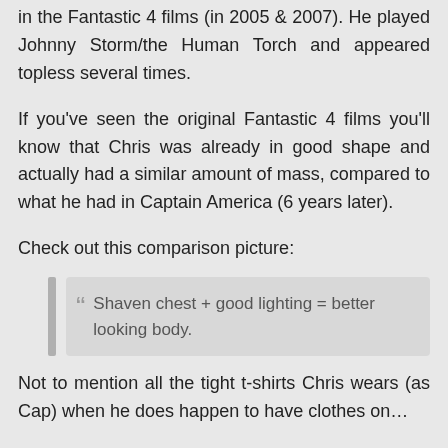in the Fantastic 4 films (in 2005 & 2007). He played Johnny Storm/the Human Torch and appeared topless several times.
If you've seen the original Fantastic 4 films you'll know that Chris was already in good shape and actually had a similar amount of mass, compared to what he had in Captain America (6 years later).
Check out this comparison picture:
Shaven chest + good lighting = better looking body.
Not to mention all the tight t-shirts Chris wears (as Cap) when he does happen to have clothes on…